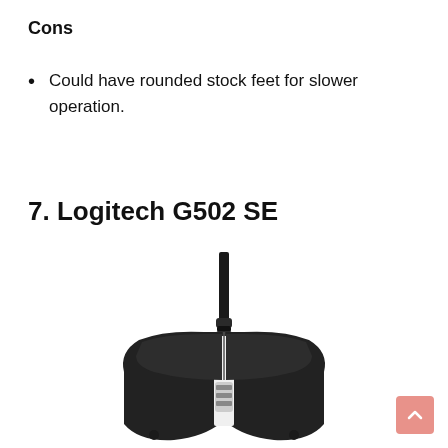Cons
Could have rounded stock feet for slower operation.
7. Logitech G502 SE
[Figure (photo): Top-down view of the Logitech G502 SE gaming mouse showing the black body with white accents and cable emerging from the top center.]